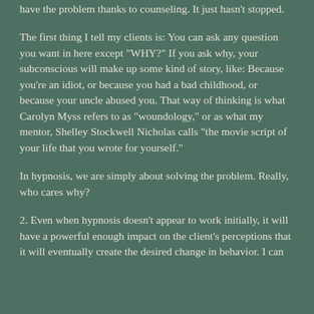have the problem thanks to counseling. It just hasn't stopped.
The first thing I tell my clients is: You can ask any question you want in here except "WHY?" If you ask why, your subconscious will make up some kind of story, like: Because you're an idiot, or because you had a bad childhood, or because your uncle abused you. That way of thinking is what Carolyn Myss refers to as "woundology," or as what my mentor, Shelley Stockwell Nicholas calls "the movie script of your life that you wrote for yourself."
In hypnosis, we are simply about solving the problem. Really, who cares why?
2. Even when hypnosis doesn't appear to work initially, it will have a powerful enough impact on the client's perceptions that it will eventually create the desired change in behavior. I can